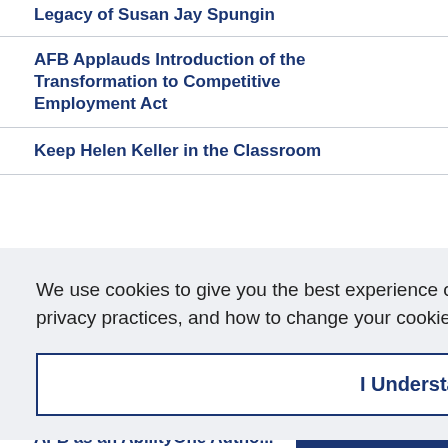Legacy of Susan Jay Spungin
AFB Applauds Introduction of the Transformation to Competitive Employment Act
Keep Helen Keller in the Classroom
We use cookies to give you the best experience on our website. To learn more about our privacy practices, and how to change your cookie settings, visit our Privacy Policy.
I Understand
AFB as an AbilityOne Autho...